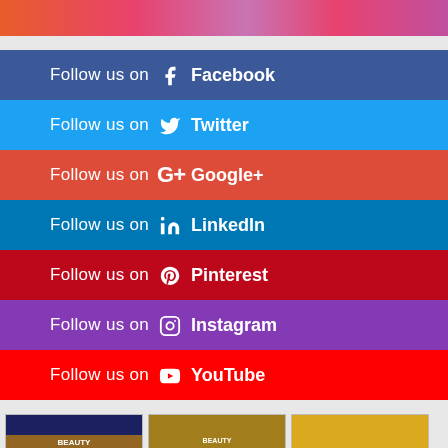[Figure (illustration): Top banner with colorful gradient (orange, pink, purple) background]
Follow us on Facebook
Follow us on Twitter
Follow us on Google+
Follow us on LinkedIn
Follow us on Pinterest
Follow us on Instagram
Follow us on YouTube
[Figure (illustration): Three movie poster thumbnails in white cards: Beauty and the Beast animated, Beauty and the Beast live action, and another film with two women in red dresses]
[Figure (photo): Beauty and the Beast animated movie poster]
[Figure (photo): Beauty and the Beast live action movie poster]
[Figure (photo): Movie poster with two women in red dresses]